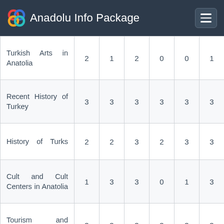Anadolu Info Package
| Course | C1 | C2 | C3 | C4 | C5 | C6 |
| --- | --- | --- | --- | --- | --- | --- |
| Turkish Arts in Anatolia | 2 | 1 | 2 | 0 | 0 | 1 |
| Recent History of Turkey | 3 | 3 | 3 | 3 | 3 | 3 |
| History of Turks | 2 | 2 | 3 | 2 | 3 | 3 |
| Cult and Cult Centers in Anatolia | 1 | 3 | 3 | 0 | 1 | 3 |
| Tourism and Sustainability | 3 | 3 | 3 | 3 | 3 | 3 |
| Tourism Economics and Global Reflections | 1 | 2 | 2 | 3 | 3 | 2 |
| Significant Natural Areas of Turkey | 3 | 3 | 3 | 3 | 2 | 3 |